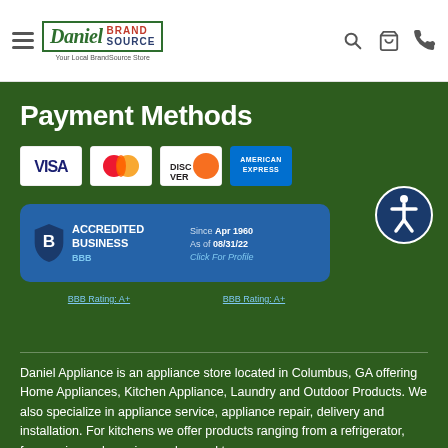[Figure (logo): Daniel Appliance BrandSource logo with tagline 'Your Local BrandSource Store']
Payment Methods
[Figure (illustration): Payment card logos: Visa, Mastercard, Discover, American Express]
[Figure (logo): BBB Accredited Business badge showing Since Apr 1960, As of 08/31/22, Click For Profile, BBB Rating: A+]
[Figure (illustration): Accessibility icon (person in circle) in dark blue]
Daniel Appliance is an appliance store located in Columbus, GA offering Home Appliances, Kitchen Appliance, Laundry and Outdoor Products. We also specialize in appliance service, appliance repair, delivery and installation. For kitchens we offer products ranging from a refrigerator, freezer, ice maker, wine cooler, cooktop,